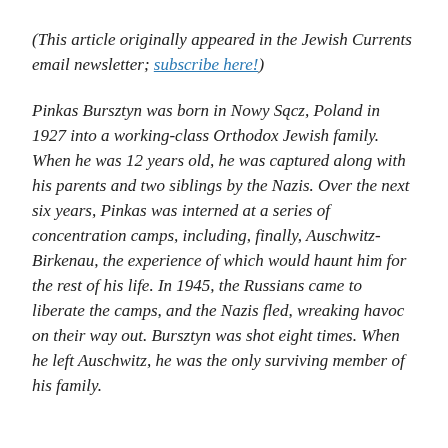(This article originally appeared in the Jewish Currents email newsletter; subscribe here!)
Pinkas Bursztyn was born in Nowy Sącz, Poland in 1927 into a working-class Orthodox Jewish family. When he was 12 years old, he was captured along with his parents and two siblings by the Nazis. Over the next six years, Pinkas was interned at a series of concentration camps, including, finally, Auschwitz-Birkenau, the experience of which would haunt him for the rest of his life. In 1945, the Russians came to liberate the camps, and the Nazis fled, wreaking havoc on their way out. Bursztyn was shot eight times. When he left Auschwitz, he was the only surviving member of his family.